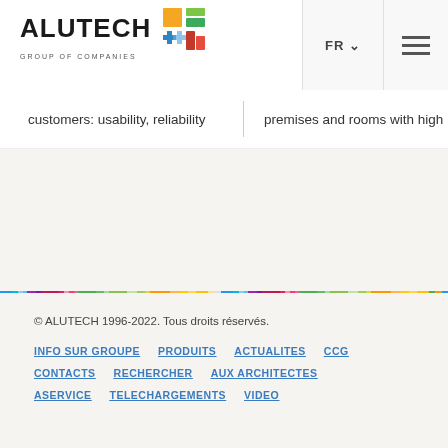[Figure (logo): ALUTECH GROUP OF COMPANIES logo with colorful geometric icon]
customers: usability, reliability
premises and rooms with high
[Figure (illustration): Multicolor horizontal rainbow stripe banner]
© ALUTECH 1996-2022. Tous droits réservés.
INFO SUR GROUPE
PRODUITS
ACTUALITES
CCG
CONTACTS
RECHERCHER
AUX ARCHITECTES
ASERVICE
TELECHARGEMENTS
VIDEO